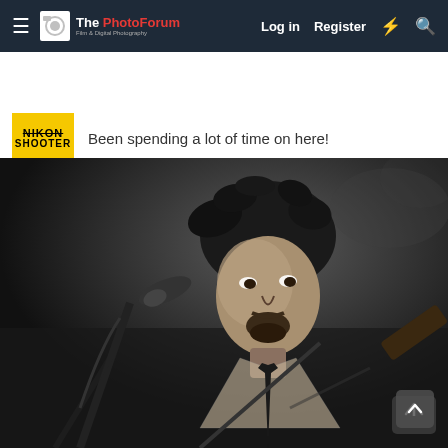The PhotoForum — Log in | Register
Been spending a lot of time on here!
May 11, 2022   #5
[Figure (photo): Black and white photograph of a male musician performing on stage. He has curly dark hair, a goatee, and is wearing a plaid shirt with a tie. He stands in front of a microphone on a stand, with a guitar visible on the right side. The background is dark and blurred.]